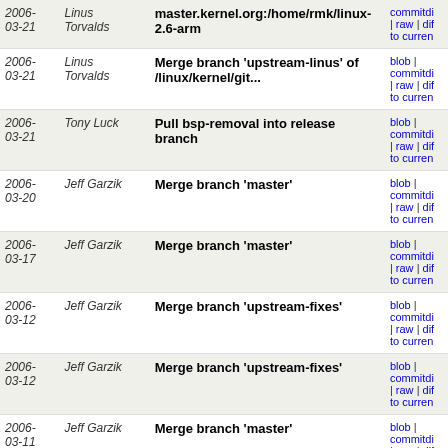| Date | Author | Commit | Links |
| --- | --- | --- | --- |
| 2006-03-21 | Linus Torvalds | master.kernel.org:/home/rmk/linux-2.6-arm | blob | commitdi... | raw | dif... to curren... |
| 2006-03-21 | Linus Torvalds | Merge branch 'upstream-linus' of /linux/kernel/git... | blob | commitdi... | raw | dif... to curren... |
| 2006-03-21 | Tony Luck | Pull bsp-removal into release branch | blob | commitdi... | raw | dif... to curren... |
| 2006-03-20 | Jeff Garzik | Merge branch 'master' | blob | commitdi... | raw | dif... to curren... |
| 2006-03-17 | Jeff Garzik | Merge branch 'master' | blob | commitdi... | raw | dif... to curren... |
| 2006-03-12 | Jeff Garzik | Merge branch 'upstream-fixes' | blob | commitdi... | raw | dif... to curren... |
| 2006-03-12 | Jeff Garzik | Merge branch 'upstream-fixes' | blob | commitdi... | raw | dif... to curren... |
| 2006-03-11 | Jeff Garzik | Merge branch 'master' | blob | commitdi... | raw | dif... to curren... |
| 2006-03-01 | Jeff Garzik | Merge branch 'master' | blob | commitdi... | raw | dif... to curren... |
| 2006-02-27 | Jeff Garzik | Merge branch 'master' | blob | commitdi... | raw | dif... to curren... |
| 2006- | Jeff Garzik | Merge branch 'upstream-fixes' | blob | commitdi... |